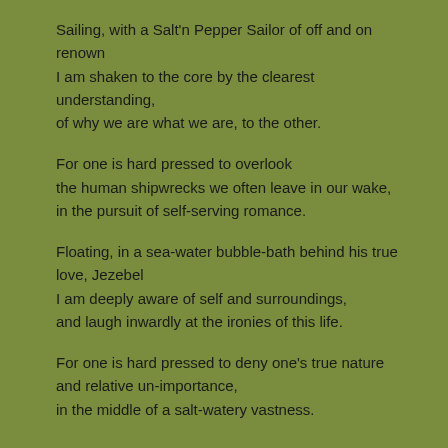Sailing, with a Salt'n Pepper Sailor of off and on renown
I am shaken to the core by the clearest understanding,
of why we are what we are, to the other.
For one is hard pressed to overlook
the human shipwrecks we often leave in our wake,
in the pursuit of self-serving romance.
Floating, in a sea-water bubble-bath behind his true love, Jezebel
I am deeply aware of self and surroundings,
and laugh inwardly at the ironies of this life.
For one is hard pressed to deny one's true nature and relative un-importance,
in the middle of a salt-watery vastness.